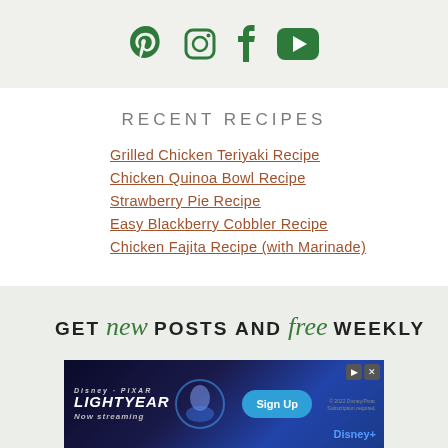[Figure (illustration): Social media icons (Pinterest, Instagram, Facebook, YouTube) in green on light gray background]
RECENT RECIPES
Grilled Chicken Teriyaki Recipe
Chicken Quinoa Bowl Recipe
Strawberry Pie Recipe
Easy Blackberry Cobbler Recipe
Chicken Fajita Recipe (with Marinade)
GET new POSTS AND free WEEKLY
[Figure (screenshot): Disney Pixar Lightyear advertisement banner - Now streaming, Sign Up button, Disney+ logo]